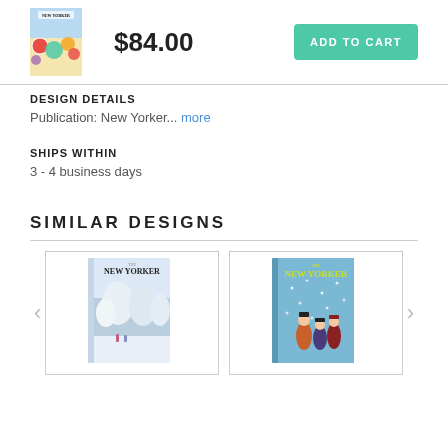[Figure (photo): Small thumbnail of New Yorker magazine cover with colorful summer/beach scene]
$84.00
ADD TO CART
DESIGN DETAILS
Publication: New Yorker... more
SHIPS WITHIN
3 - 4 business days
SIMILAR DESIGNS
[Figure (photo): New Yorker magazine cover showing snowy winter scene with people walking in a park]
[Figure (photo): New Yorker magazine cover showing carolers/musicians in the snow]